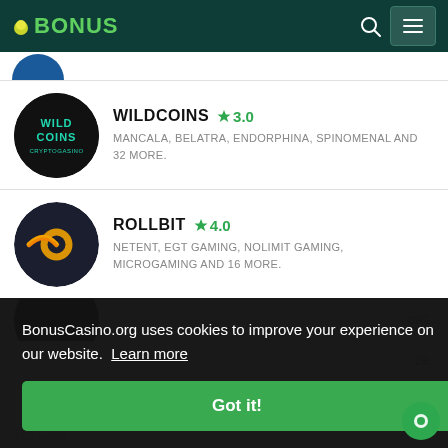BONUS
WILDCOINS ★3.0 — MANCALA, BELATRA, ENDORPHINA, SPINOMENAL AND 32 MORE.
ROLLBIT ★4.0 — NETENT, EGT GAMING, NOLIMIT GAMING, MICROGAMING AND 16 MORE.
BonusCasino.org uses cookies to improve your experience on our website. Learn more
Got it!
T&C applies